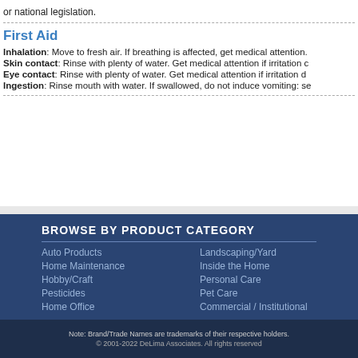or national legislation.
First Aid
Inhalation: Move to fresh air. If breathing is affected, get medical attention.
Skin contact: Rinse with plenty of water. Get medical attention if irritation c
Eye contact: Rinse with plenty of water. Get medical attention if irritation d
Ingestion: Rinse mouth with water. If swallowed, do not induce vomiting: se
BROWSE BY PRODUCT CATEGORY
Auto Products
Landscaping/Yard
Home Maintenance
Inside the Home
Hobby/Craft
Personal Care
Pesticides
Pet Care
Home Office
Commercial / Institutional
Note: Brand/Trade Names are trademarks of their respective holders.
© 2001-2022 DeLima Associates. All rights reserved